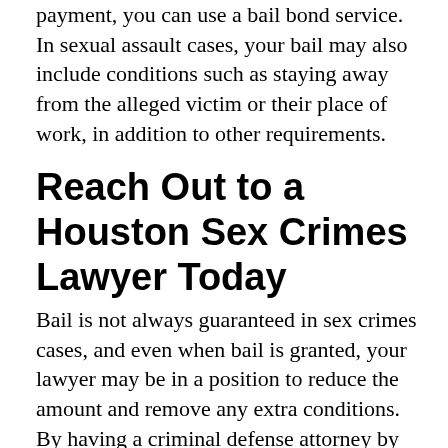payment, you can use a bail bond service. In sexual assault cases, your bail may also include conditions such as staying away from the alleged victim or their place of work, in addition to other requirements.
Reach Out to a Houston Sex Crimes Lawyer Today
Bail is not always guaranteed in sex crimes cases, and even when bail is granted, your lawyer may be in a position to reduce the amount and remove any extra conditions. By having a criminal defense attorney by your side from the beginning, you can vastly increase your chances of obtaining a good case outcome, and ensure that your rights are protected throughout the course of the